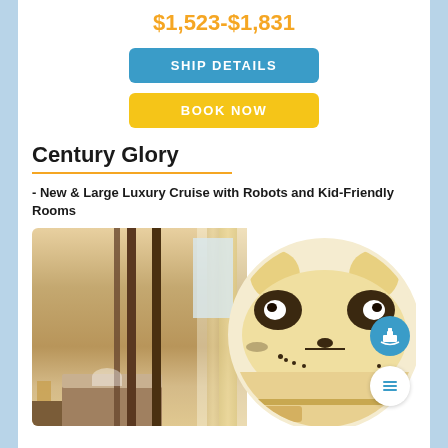$1,523-$1,831
SHIP DETAILS
BOOK NOW
Century Glory
- New & Large Luxury Cruise with Robots and Kid-Friendly Rooms
[Figure (photo): Split image: left side shows a luxury cruise ship cabin interior with warm gold curtains, brown pillars, a made bed, and soft lighting; right side shows a circular inset of a panda-themed kid-friendly bunk area with a cartoon panda face headboard and warm cream tones. Two circular icon buttons (ship icon and list icon) are overlaid on the bottom right.]